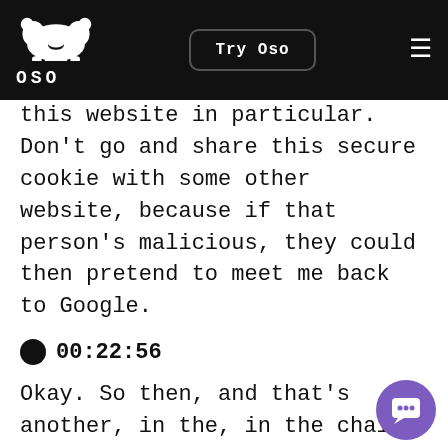OSO — Try Oso
this website in particular. Don't go and share this secure cookie with some other website, because if that person's malicious, they could then pretend to meet me back to Google.
0 00:22:56
Okay. So then, and that's another, in the, in the chain of trust that we're talking about here, the chain of that trust is assuming that the browser can store that cookie and.